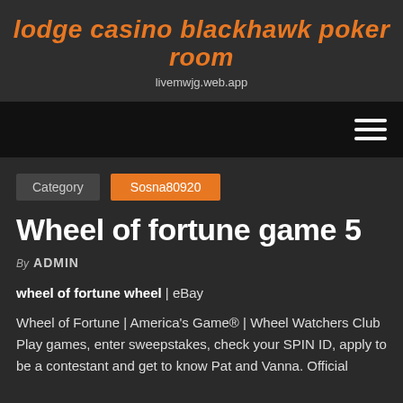lodge casino blackhawk poker room
livemwjg.web.app
[Figure (other): Navigation bar with hamburger menu icon (three horizontal white lines) on black background]
Category  Sosna80920
Wheel of fortune game 5
By ADMIN
wheel of fortune wheel | eBay
Wheel of Fortune | America's Game® | Wheel Watchers Club Play games, enter sweepstakes, check your SPIN ID, apply to be a contestant and get to know Pat and Vanna. Official